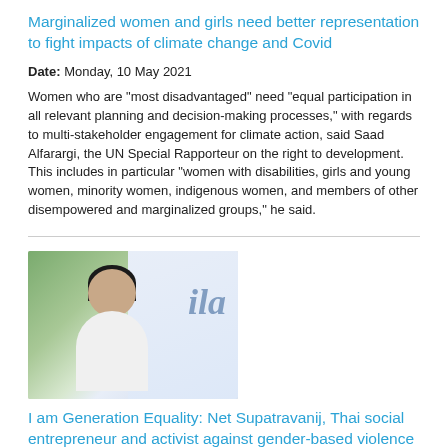Marginalized women and girls need better representation to fight impacts of climate change and Covid
Date: Monday, 10 May 2021
Women who are "most disadvantaged" need "equal participation in all relevant planning and decision-making processes," with regards to multi-stakeholder engagement for climate action, said Saad Alfarargi, the UN Special Rapporteur on the right to development. This includes in particular "women with disabilities, girls and young women, minority women, indigenous women, and members of other disempowered and marginalized groups," he said.
[Figure (photo): A young woman standing in front of a sign with the cursive text 'ila', wearing a white t-shirt]
I am Generation Equality: Net Supatravanij, Thai social entrepreneur and activist against gender-based violence
Date: Monday, 15 March 2021